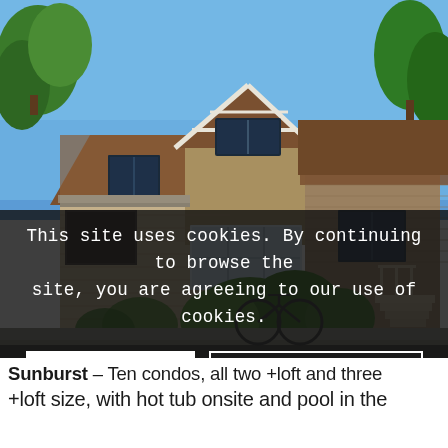[Figure (photo): Exterior photo of a wood-sided residential condo building with brown roof, large windows, green shrubs and trees, and a bicycle visible in front. Blue sky in background.]
This site uses cookies. By continuing to browse the site, you are agreeing to our use of cookies.
OK
Learn more
Sunburst – Ten condos, all two +loft and three +loft size, with hot tub onsite and pool in the